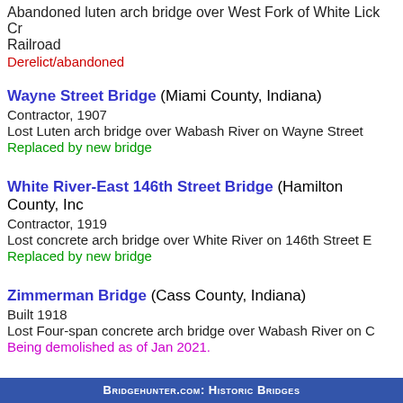Abandoned luten arch bridge over West Fork of White Lick Creek Railroad
Derelict/abandoned
Wayne Street Bridge (Miami County, Indiana)
Contractor, 1907
Lost Luten arch bridge over Wabash River on Wayne Street
Replaced by new bridge
White River-East 146th Street Bridge (Hamilton County, Indiana)
Contractor, 1919
Lost concrete arch bridge over White River on 146th Street E
Replaced by new bridge
Zimmerman Bridge (Cass County, Indiana)
Built 1918
Lost Four-span concrete arch bridge over Wabash River on C
Being demolished as of Jan 2021.
Bridgehunter.com: Historic Bridges